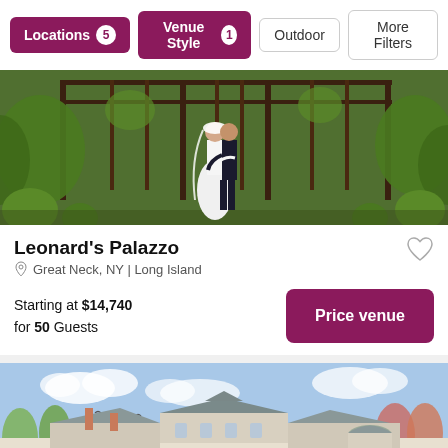Locations 5 | Venue Style 1 | Outdoor | More Filters
[Figure (photo): Couple kissing under a garden pergola with lush greenery and topiary bushes]
Leonard's Palazzo
Great Neck, NY | Long Island
Starting at $14,740 for 50 Guests
[Figure (photo): Aerial/exterior view of a large white venue estate building with trees and blue sky]